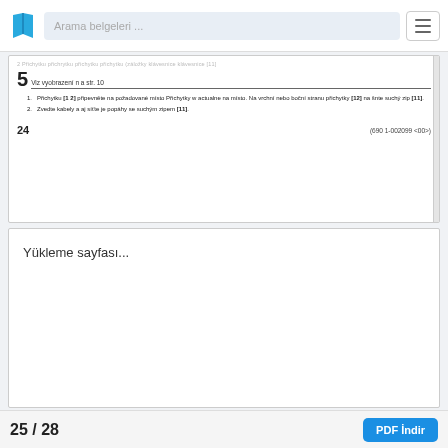Arama belgeleri ...
5  Viz vyobrazení n a str. 10
Přichytku [1 2] připevněte na požadované místo Přichytky w  actualne na místo. Na vrchní nebo boční stranu přichytky [12] na šnte suchý zip [11].
Zvedte kabely a aj síťte je popáhy se suchým zipem [11].
24   (690 1-002099 <00>)
Yükleme sayfası...
25 / 28   PDF İndir